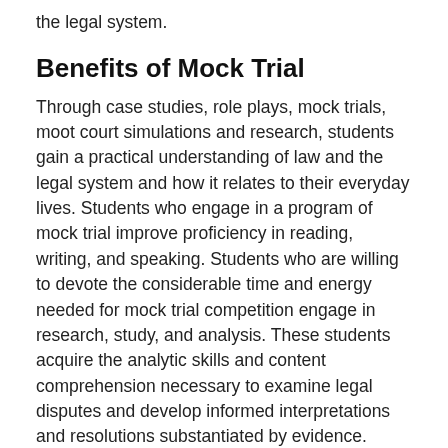the legal system.
Benefits of Mock Trial
Through case studies, role plays, mock trials, moot court simulations and research, students gain a practical understanding of law and the legal system and how it relates to their everyday lives. Students who engage in a program of mock trial improve proficiency in reading, writing, and speaking. Students who are willing to devote the considerable time and energy needed for mock trial competition engage in research, study, and analysis. These students acquire the analytic skills and content comprehension necessary to examine legal disputes and develop informed interpretations and resolutions substantiated by evidence. Mock Trial analyzes the foundations and functions of the American legal system and reviews types of laws, the individual's relationship to the law and significant court decisions.
The primary legal skills and knowledge learned in class are significantly enhanced and developed to maturity by providing students with opportunities for extra-curricular